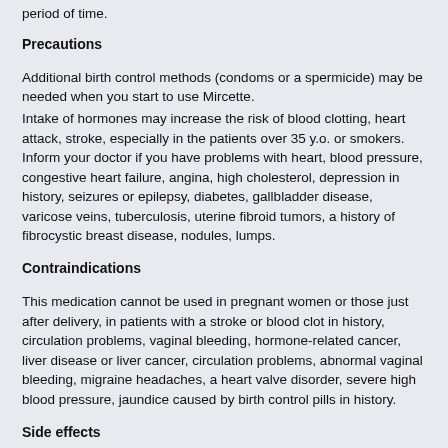period of time.
Precautions
Additional birth control methods (condoms or a spermicide) may be needed when you start to use Mircette.
Intake of hormones may increase the risk of blood clotting, heart attack, stroke, especially in the patients over 35 y.o. or smokers. Inform your doctor if you have problems with heart, blood pressure, congestive heart failure, angina, high cholesterol, depression in history, seizures or epilepsy, diabetes, gallbladder disease, varicose veins, tuberculosis, uterine fibroid tumors, a history of fibrocystic breast disease, nodules, lumps.
Contraindications
This medication cannot be used in pregnant women or those just after delivery, in patients with a stroke or blood clot in history, circulation problems, vaginal bleeding, hormone-related cancer, liver disease or liver cancer, circulation problems, abnormal vaginal bleeding, migraine headaches, a heart valve disorder, severe high blood pressure, jaundice caused by birth control pills in history.
Side effects
Besides allergic symptoms (hives, skin rash, facial swelling, difficulty